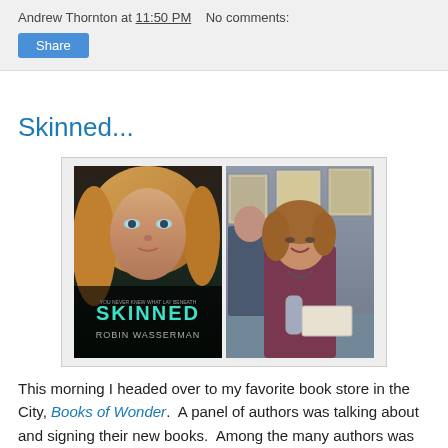Andrew Thornton at 11:50 PM   No comments:
Share
Skinned...
[Figure (photo): Two side-by-side photos: left is the book cover of 'Skinned' by Robin Wasserman showing a blonde woman's face; right is a photo of Robin Wasserman at a book signing event, smiling and holding papers, seated at a table with framed artwork behind her.]
This morning I headed over to my favorite book store in the City, Books of Wonder.  A panel of authors was talking about and signing their new books.  Among the many authors was one of my regulars from my former job, Robin Wasserman.  Not only is she wonderfully nice and quite accomplished as